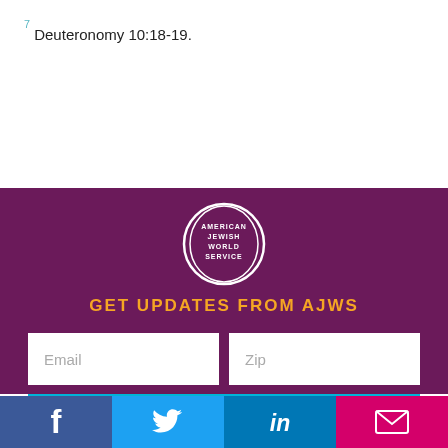7 Deuteronomy 10:18-19.
[Figure (logo): American Jewish World Service circular logo with white ring on purple background]
GET UPDATES FROM AJWS
[Figure (other): Email and Zip input fields on purple background]
SIGN UP
[Figure (other): Social media footer bar with Facebook, Twitter, LinkedIn, and Email icons]